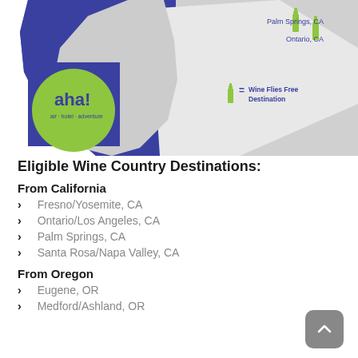[Figure (map): Map showing California and surrounding states with wine bottle icons marking Palm Springs CA and Ontario CA destinations. Aha! air hotel adventure logo in green circle on blue background. Legend shows wine bottle = Wine Flies Free Destination.]
Eligible Wine Country Destinations:
From California
Fresno/Yosemite, CA
Ontario/Los Angeles, CA
Palm Springs, CA
Santa Rosa/Napa Valley, CA
From Oregon
Eugene, OR
Medford/Ashland, OR